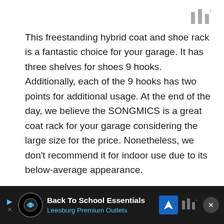[Figure (logo): Three vertical bar logo marks in gray with a small degree symbol, top right corner]
This freestanding hybrid coat and shoe rack is a fantastic choice for your garage. It has three shelves for shoes 9 hooks. Additionally, each of the 9 hooks has two points for additional usage. At the end of the day, we believe the SONGMICS is a great coat rack for your garage considering the large size for the price. Nonetheless, we don't recommend it for indoor use due to its below-average appearance.
Users Say: “Very sturdy. Sad that it is currently unavailable. I was going to buy another one. My husband likes having a place in the garage to
[Figure (infographic): Dark advertisement banner at bottom: Back To School Essentials - Leesburg Premium Outlets, with arrow navigation icon and close button]